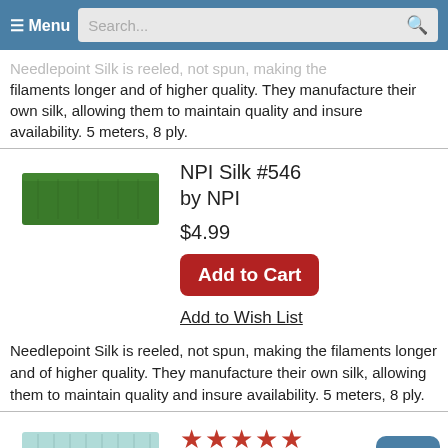Menu | Search...
Needlepoint Silk is reeled, not spun, making the filaments longer and of higher quality. They manufacture their own silk, allowing them to maintain quality and insure availability. 5 meters, 8 ply.
[Figure (photo): Green silk thread swatch for NPI Silk #546]
NPI Silk #546
by NPI

$4.99

Add to Cart

Add to Wish List
Needlepoint Silk is reeled, not spun, making the filaments longer and of higher quality. They manufacture their own silk, allowing them to maintain quality and insure availability. 5 meters, 8 ply.
[Figure (photo): Light blue silk thread swatch for NPI Silk #492]
★★★★★
NPI Silk #492